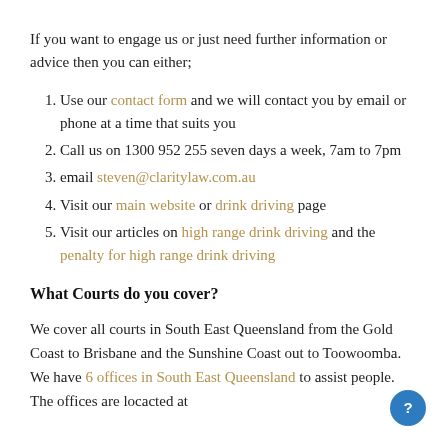If you want to engage us or just need further information or advice then you can either;
Use our contact form and we will contact you by email or phone at a time that suits you
Call us on 1300 952 255 seven days a week, 7am to 7pm
email steven@claritylaw.com.au
Visit our main website or drink driving page
Visit our articles on high range drink driving and the penalty for high range drink driving
What Courts do you cover?
We cover all courts in South East Queensland from the Gold Coast to Brisbane and the Sunshine Coast out to Toowoomba. We have 6 offices in South East Queensland to assist people. The offices are locacted at